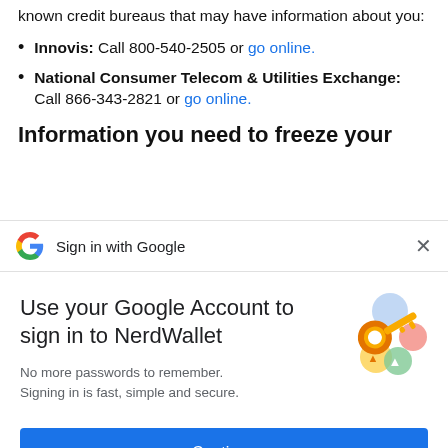You can also freeze your credit report at two lesser known credit bureaus that may have information about you:
Innovis: Call 800-540-2505 or go online.
National Consumer Telecom & Utilities Exchange: Call 866-343-2821 or go online.
Information you need to freeze your
[Figure (screenshot): Google Sign in with Google dialog bar with Google G logo on the left, 'Sign in with Google' text in center, and an X close button on the right]
Use your Google Account to sign in to NerdWallet
No more passwords to remember. Signing in is fast, simple and secure.
[Figure (illustration): Google account illustration showing a golden key with colorful circular icons representing Google account features]
Continue